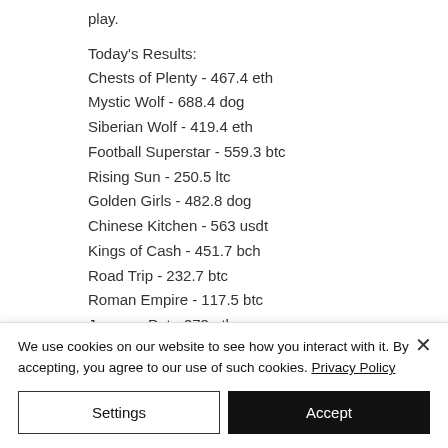play.
Today's Results:
Chests of Plenty - 467.4 eth
Mystic Wolf - 688.4 dog
Siberian Wolf - 419.4 eth
Football Superstar - 559.3 btc
Rising Sun - 250.5 ltc
Golden Girls - 482.8 dog
Chinese Kitchen - 563 usdt
Kings of Cash - 451.7 bch
Road Trip - 232.7 btc
Roman Empire - 117.5 btc
Jacques Pot - 273 eth
We use cookies on our website to see how you interact with it. By accepting, you agree to our use of such cookies. Privacy Policy
Settings
Accept